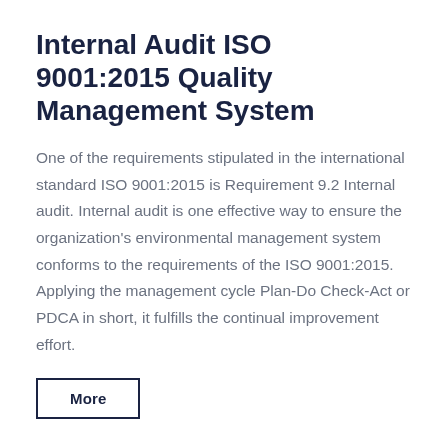Internal Audit ISO 9001:2015 Quality Management System
One of the requirements stipulated in the international standard ISO 9001:2015 is Requirement 9.2 Internal audit. Internal audit is one effective way to ensure the organization's environmental management system conforms to the requirements of the ISO 9001:2015. Applying the management cycle Plan-Do Check-Act or PDCA in short, it fulfills the continual improvement effort.
More